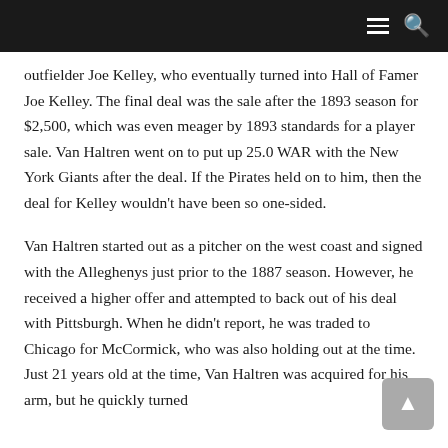outfielder Joe Kelley, who eventually turned into Hall of Famer Joe Kelley. The final deal was the sale after the 1893 season for $2,500, which was even meager by 1893 standards for a player sale. Van Haltren went on to put up 25.0 WAR with the New York Giants after the deal. If the Pirates held on to him, then the deal for Kelley wouldn't have been so one-sided.
Van Haltren started out as a pitcher on the west coast and signed with the Alleghenys just prior to the 1887 season. However, he received a higher offer and attempted to back out of his deal with Pittsburgh. When he didn't report, he was traded to Chicago for McCormick, who was also holding out at the time. Just 21 years old at the time, Van Haltren was acquired for his arm, but he quickly turned